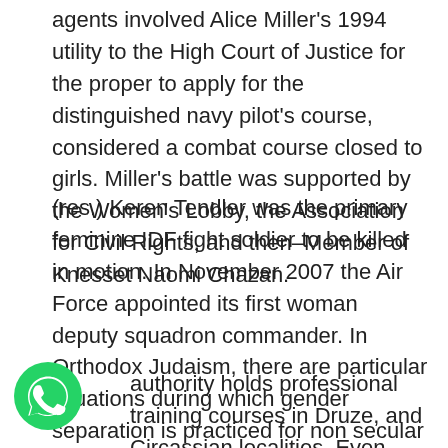agents involved Alice Miller's 1994 utility to the High Court of Justice for the proper to apply for the distinguished navy pilot's course, considered a combat course closed to girls. Miller's battle was supported by the Women's Lobby, the Association for Civil Rights, and then–Member of Knesset Naomi Chazan.
(res.) Keren Tendler was the primary feminine IDF fight soldier to be killed in motion. In November 2007 the Air Force appointed its first woman deputy squadron commander. In Orthodox Judaism, there are particular situations during which gender separation is practiced for non secular and social causes, with strict rules on mingling of women and men.
authority holds professional training courses in Druze, and Circassian localities. Even before the state of Israel was created, there have been ladies
[Figure (logo): WhatsApp green phone icon logo, circular green background with white phone handset silhouette]